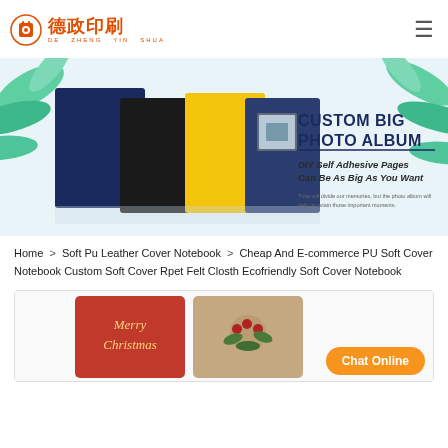[Figure (logo): Dezheng Printing company logo with Chinese characters and pinyin DE ZHENG YIN SHUA]
[Figure (photo): Banner showing custom big photo album with colorful album covers (navy, black, yellow) and text: CUSTOM BIG PHOTO ALBUM, DIY Self Adhesive Pages Can Be As Big As You Want]
Home > Soft Pu Leather Cover Notebook > Cheap And E-commerce PU Soft Cover Notebook Custom Soft Cover Rpet Felt Closth Ecofriendly Soft Cover Notebook
[Figure (photo): Product photo showing two notebooks: one red with Merry Christmas script text, one tan/kraft with holly berry illustration]